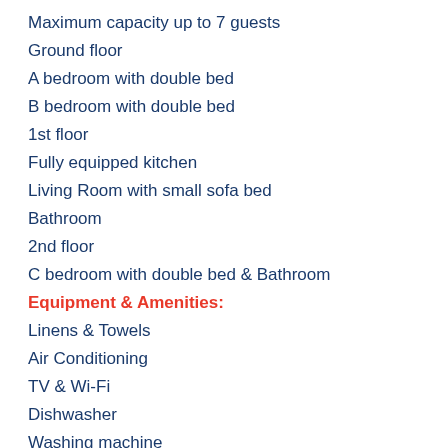Maximum capacity up to 7 guests
Ground floor
A bedroom with double bed
B bedroom with double bed
1st floor
Fully equipped kitchen
Living Room with small sofa bed
Bathroom
2nd floor
C bedroom with double bed & Bathroom
Equipment & Amenities:
Linens & Towels
Air Conditioning
TV & Wi-Fi
Dishwasher
Washing machine
Iron & iron board
Room cleaning ones on check in
Description of Exterior:
Private garden with barbeque